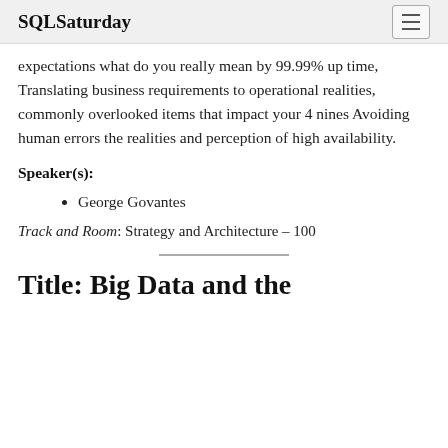SQLSaturday
expectations what do you really mean by 99.99% up time, Translating business requirements to operational realities, commonly overlooked items that impact your 4 nines Avoiding human errors the realities and perception of high availability.
Speaker(s):
George Govantes
Track and Room: Strategy and Architecture – 100
Title: Big Data and the